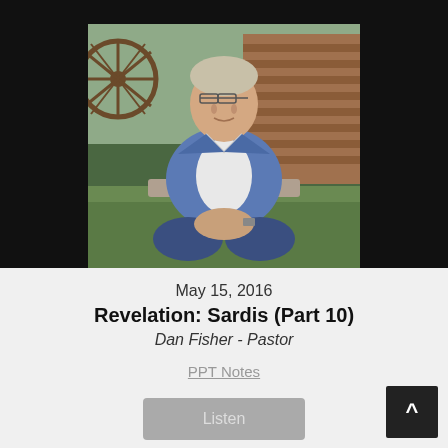[Figure (photo): Professional portrait photo of a middle-aged man in a blue blazer and white shirt, sitting casually in front of a rustic outdoor background with a wagon wheel]
PASTOR'S CLASS - DAN FISHER
May 15, 2016
Revelation: Sardis (Part 10)
Dan Fisher - Pastor
PPT Notes
Listen